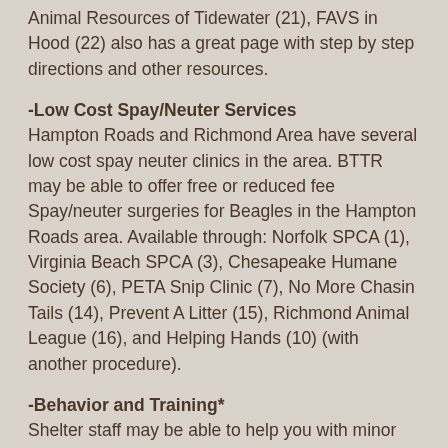Animal Resources of Tidewater (21), FAVS in Hood (22) also has a great page with step by step directions and other resources.
-Low Cost Spay/Neuter Services
Hampton Roads and Richmond Area have several low cost spay neuter clinics in the area. BTTR may be able to offer free or reduced fee Spay/neuter surgeries for Beagles in the Hampton Roads area. Available through: Norfolk SPCA (1), Virginia Beach SPCA (3), Chesapeake Humane Society (6), PETA Snip Clinic (7), No More Chasin Tails (14), Prevent A Litter (15), Richmond Animal League (16), and Helping Hands (10) (with another procedure).
-Behavior and Training*
Shelter staff may be able to help you with minor behavior issues over the phone. For more challenging behavioral issues, local shelters can refer you to one of the trusted and certified professionals in Hampton Roads. BTTR may also be able to offer training advice or you can meet with one of